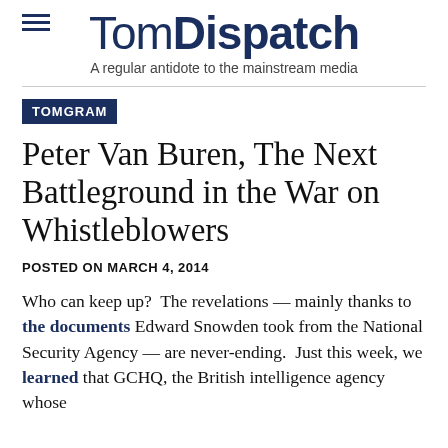TomDispatch — A regular antidote to the mainstream media
TOMGRAM
Peter Van Buren, The Next Battleground in the War on Whistleblowers
POSTED ON MARCH 4, 2014
Who can keep up?  The revelations — mainly thanks to the documents Edward Snowden took from the National Security Agency — are never-ending.  Just this week, we learned that GCHQ, the British intelligence agency whose